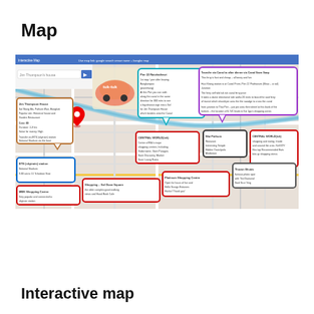Map
[Figure (map): Annotated Google Map of Bangkok showing Jim Thompson's House, Pier 22 Ratchathewi, BTS Skytrain station, MBK Shopping Centre, canal transfer route and other landmarks with callout boxes in various colors]
Interactive map